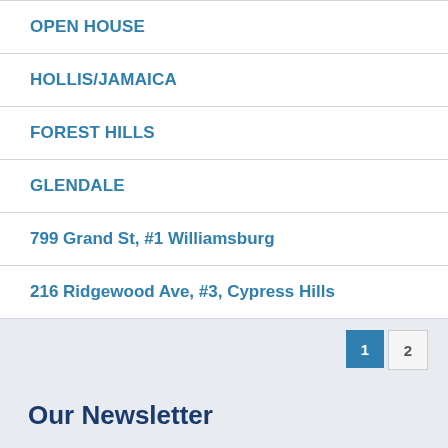OPEN HOUSE
HOLLIS/JAMAICA
FOREST HILLS
GLENDALE
799 Grand St, #1 Williamsburg
216 Ridgewood Ave, #3, Cypress Hills
1  2
Our Newsletter